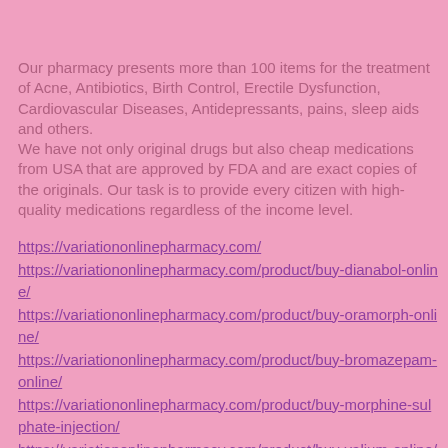Our pharmacy presents more than 100 items for the treatment of Acne, Antibiotics, Birth Control, Erectile Dysfunction, Cardiovascular Diseases, Antidepressants, pains, sleep aids and others.
We have not only original drugs but also cheap medications from USA that are approved by FDA and are exact copies of the originals. Our task is to provide every citizen with high-quality medications regardless of the income level.
https://variationonlinepharmacy.com/
https://variationonlinepharmacy.com/product/buy-dianabol-online/
https://variationonlinepharmacy.com/product/buy-oramorph-online/
https://variationonlinepharmacy.com/product/buy-bromazepam-online/
https://variationonlinepharmacy.com/product/buy-morphine-sulphate-injection/
https://variationonlinepharmacy.com/product/buy-valium-online/
https://variationonlinepharmacy.com/product/buy-ultram-online/
https://variationonlinepharmacy.com/product/buy-soma-online/
https://variationonlinepharmacy.com/product/buy-ketamax-online/